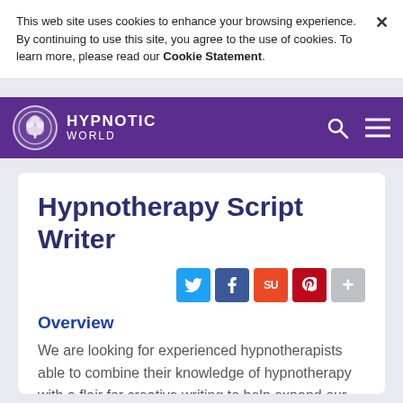This web site uses cookies to enhance your browsing experience. By continuing to use this site, you agree to the use of cookies. To learn more, please read our Cookie Statement.
[Figure (logo): Hypnotic World website navigation bar with logo (tree in circle), brand name HYPNOTIC WORLD, search icon, and hamburger menu icon on purple background]
Hypnotherapy Script Writer
[Figure (infographic): Social share buttons row: Twitter (blue), Facebook (dark blue), StumbleUpon (orange-red), Pinterest (red), More/plus (grey)]
Overview
We are looking for experienced hypnotherapists able to combine their knowledge of hypnotherapy with a flair for creative writing to help expand our hypnosis scripts collection.